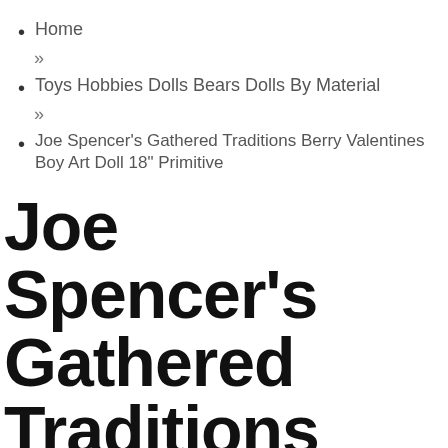Home
»
Toys Hobbies Dolls Bears Dolls By Material
»
Joe Spencer's Gathered Traditions Berry Valentines Boy Art Doll 18" Primitive
Joe Spencer's Gathered Traditions Berry Valentines Boy Art Doll 18" Primitive